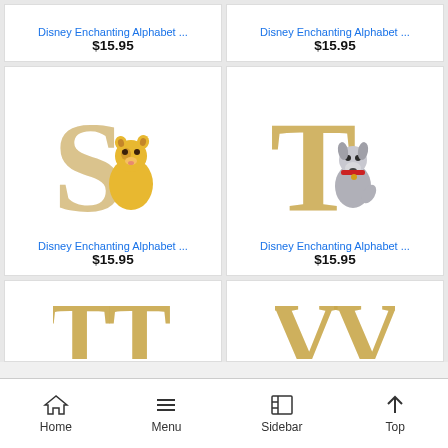[Figure (photo): Disney Enchanting Alphabet figurine - top left partial product card showing price]
[Figure (photo): Disney Enchanting Alphabet figurine - top right partial product card showing price]
[Figure (photo): Disney Enchanting Alphabet S figurine with Simba from The Lion King]
Disney Enchanting Alphabet ...
$15.95
[Figure (photo): Disney Enchanting Alphabet T figurine with Tramp from Lady and the Tramp]
Disney Enchanting Alphabet ...
$15.95
[Figure (photo): Disney Enchanting Alphabet T figurine - bottom left partial]
[Figure (photo): Disney Enchanting Alphabet V figurine - bottom right partial]
Home   Menu   Sidebar   Top